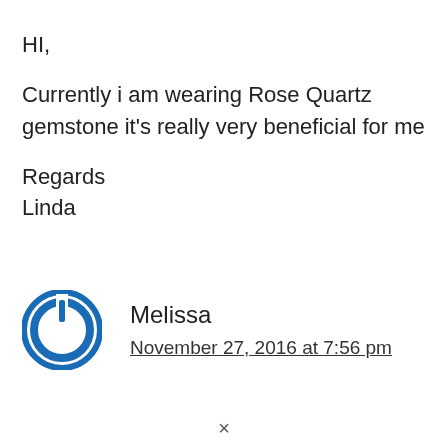HI,
Currently i am wearing Rose Quartz gemstone it’s really very beneficial for me
Regards
Linda
[Figure (logo): Blue circular power button icon — avatar for user Melissa]
Melissa
November 27, 2016 at 7:56 pm